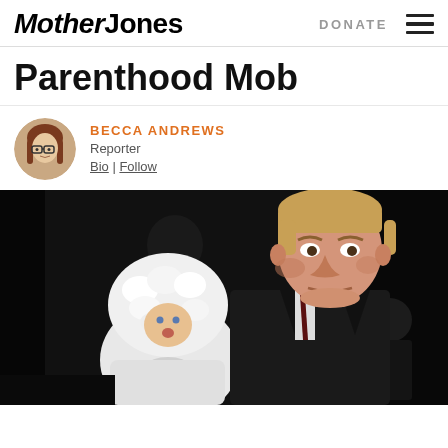Mother Jones | DONATE
Parenthood Mob
BECCA ANDREWS
Reporter
Bio | Follow
[Figure (photo): A man in a dark suit holding a baby in a white fluffy winter hat, photographed against a dark background. The man appears to be Donald Trump in a younger photo.]